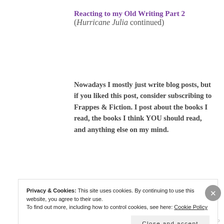Reacting to my Old Writing Part 2 (Hurricane Julia continued)
Nowadays I mostly just write blog posts, but if you liked this post, consider subscribing to Frappes & Fiction. I post about the books I read, the books I think YOU should read, and anything else on my mind.
Email Address
SUBSCRIBE
Privacy & Cookies: This site uses cookies. By continuing to use this website, you agree to their use.
To find out more, including how to control cookies, see here: Cookie Policy
Close and accept